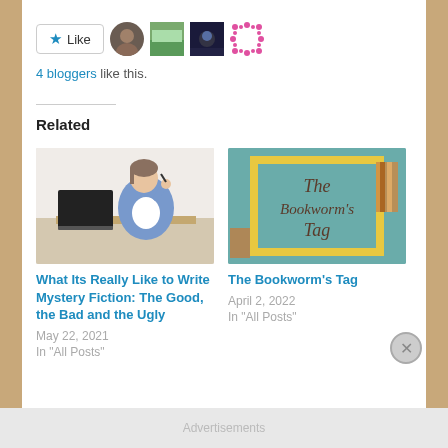[Figure (other): Like button with star icon and 4 blogger avatar thumbnails]
4 bloggers like this.
Related
[Figure (photo): Person sitting at a desk with a laptop, thoughtfully holding a pen to their mouth]
What Its Really Like to Write Mystery Fiction: The Good, the Bad and the Ugly
May 22, 2021
In "All Posts"
[Figure (illustration): The Bookworm's Tag illustration on teal background with cursive text]
The Bookworm's Tag
April 2, 2022
In "All Posts"
Advertisements